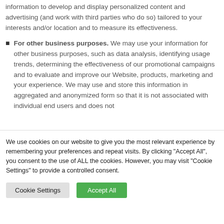information to develop and display personalized content and advertising (and work with third parties who do so) tailored to your interests and/or location and to measure its effectiveness.
For other business purposes. We may use your information for other business purposes, such as data analysis, identifying usage trends, determining the effectiveness of our promotional campaigns and to evaluate and improve our Website, products, marketing and your experience. We may use and store this information in aggregated and anonymized form so that it is not associated with individual end users and does not
We use cookies on our website to give you the most relevant experience by remembering your preferences and repeat visits. By clicking "Accept All", you consent to the use of ALL the cookies. However, you may visit "Cookie Settings" to provide a controlled consent.